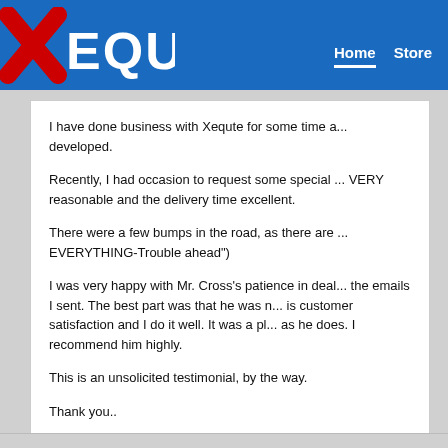Xequte | Home | Store
I have done business with Xequte for some time a... developed.

Recently, I had occasion to request some special ... VERY reasonable and the delivery time excellent.

There were a few bumps in the road, as there are ... EVERYTHING-Trouble ahead")

I was very happy with Mr. Cross's patience in dea... the emails I sent. The best part was that he was n... is customer satisfaction and I do it well. It was a pl... as he does. I recommend him highly.

This is an unsolicited testimonial, by the way.

Thank you..

Phill Mayer
Webmaster, www.mcgiver.d2g.com